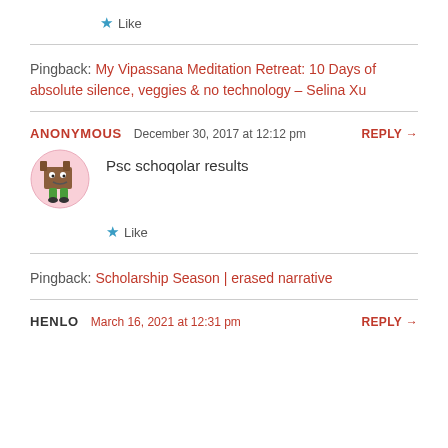★ Like
Pingback: My Vipassana Meditation Retreat: 10 Days of absolute silence, veggies & no technology – Selina Xu
ANONYMOUS   December 30, 2017 at 12:12 pm   REPLY →
Psc schoqolar results
★ Like
Pingback: Scholarship Season | erased narrative
HENLO   March 16, 2021 at 12:31 pm   REPLY →